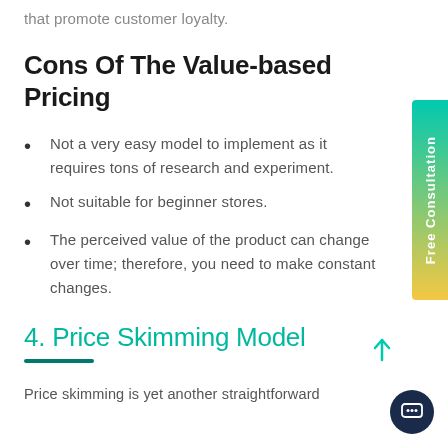that promote customer loyalty.
Cons Of The Value-based Pricing
Not a very easy model to implement as it requires tons of research and experiment.
Not suitable for beginner stores.
The perceived value of the product can change over time; therefore, you need to make constant changes.
4. Price Skimming Model
Price skimming is yet another straightforward